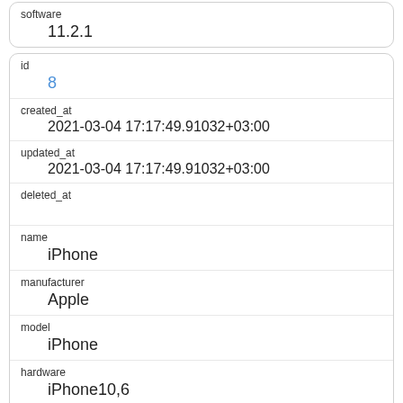| software | 11.2.1 |
| id | 8 |
| created_at | 2021-03-04 17:17:49.91032+03:00 |
| updated_at | 2021-03-04 17:17:49.91032+03:00 |
| deleted_at |  |
| name | iPhone |
| manufacturer | Apple |
| model | iPhone |
| hardware | iPhone10,6 |
| software |  |